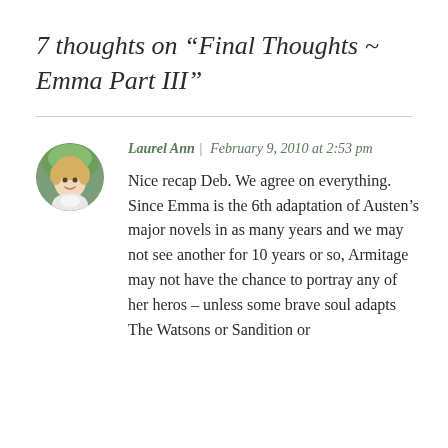7 thoughts on “Final Thoughts ~ Emma Part III”
Laurel Ann | February 9, 2010 at 2:53 pm
Nice recap Deb. We agree on everything. Since Emma is the 6th adaptation of Austen’s major novels in as many years and we may not see another for 10 years or so, Armitage may not have the chance to portray any of her heros – unless some brave soul adapts The Watsons or Sandition or